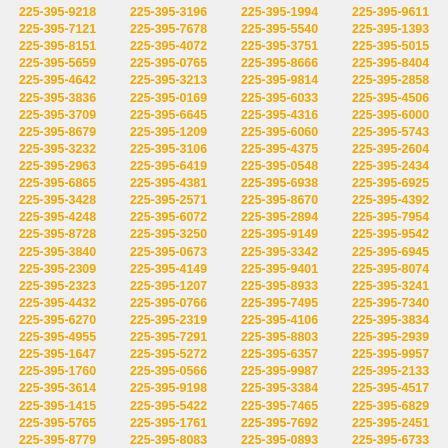| 225-395-9218 | 225-395-3196 | 225-395-1994 | 225-395-9611 |
| 225-395-7121 | 225-395-7678 | 225-395-5540 | 225-395-1393 |
| 225-395-8151 | 225-395-4072 | 225-395-3751 | 225-395-5015 |
| 225-395-5659 | 225-395-0765 | 225-395-8666 | 225-395-8404 |
| 225-395-4642 | 225-395-3213 | 225-395-9814 | 225-395-2858 |
| 225-395-3836 | 225-395-0169 | 225-395-6033 | 225-395-4506 |
| 225-395-3709 | 225-395-6645 | 225-395-4316 | 225-395-6000 |
| 225-395-8679 | 225-395-1209 | 225-395-6060 | 225-395-5743 |
| 225-395-3232 | 225-395-3106 | 225-395-4375 | 225-395-2604 |
| 225-395-2963 | 225-395-6419 | 225-395-0548 | 225-395-2434 |
| 225-395-6865 | 225-395-4381 | 225-395-6938 | 225-395-6925 |
| 225-395-3428 | 225-395-2571 | 225-395-8670 | 225-395-4392 |
| 225-395-4248 | 225-395-6072 | 225-395-2894 | 225-395-7954 |
| 225-395-8728 | 225-395-3250 | 225-395-9149 | 225-395-9542 |
| 225-395-3840 | 225-395-0673 | 225-395-3342 | 225-395-6945 |
| 225-395-2309 | 225-395-4149 | 225-395-9401 | 225-395-8074 |
| 225-395-2323 | 225-395-1207 | 225-395-8933 | 225-395-3241 |
| 225-395-4432 | 225-395-0766 | 225-395-7495 | 225-395-7340 |
| 225-395-6270 | 225-395-2319 | 225-395-4106 | 225-395-3834 |
| 225-395-4955 | 225-395-7291 | 225-395-8803 | 225-395-2939 |
| 225-395-1647 | 225-395-5272 | 225-395-6357 | 225-395-9957 |
| 225-395-1760 | 225-395-0566 | 225-395-9987 | 225-395-2133 |
| 225-395-3614 | 225-395-9198 | 225-395-3384 | 225-395-4517 |
| 225-395-1415 | 225-395-5422 | 225-395-7465 | 225-395-6829 |
| 225-395-5765 | 225-395-1761 | 225-395-7692 | 225-395-2451 |
| 225-395-8779 | 225-395-8083 | 225-395-0893 | 225-395-6733 |
| 225-395-3215 | 225-395-1748 | 225-395-3760 | 225-395-0197 |
| 225-395-2082 | 225-395-0270 | 225-395-5649 | 225-395-5824 |
| 225-395-7438 | 225-395-3348 | 225-395-7717 | 225-395-3243 |
| 225-395-0449 | 225-395-5103 | 225-395-7701 | 225-395-0026 |